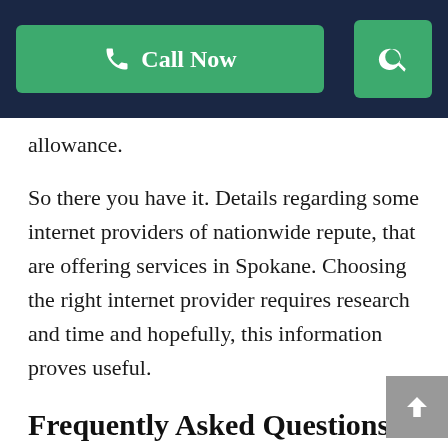Call Now [search icon]
allowance.
So there you have it. Details regarding some internet providers of nationwide repute, that are offering services in Spokane. Choosing the right internet provider requires research and time and hopefully, this information proves useful.
Frequently Asked Questions (FAQs)
Is CenturyLink internet available in Spokane?